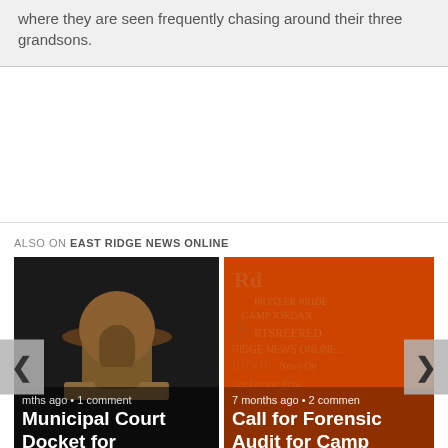where they are seen frequently chasing around their three grandsons.
[Figure (other): Advertisement placeholder white area]
ALSO ON EAST RIDGE NEWS ONLINE
[Figure (photo): Gavel photo card: Municipal Court Docket for March 29, months ago • 1 comment]
[Figure (photo): East Ridge News Online word cloud orange card: Call for Forensic Audit for Camp Jordan Park, 7 months ago • 2 comments]